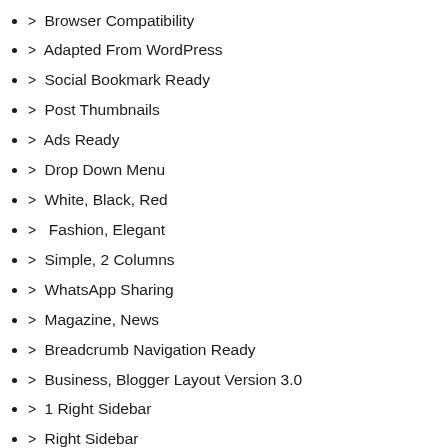> Browser Compatibility
> Adapted From WordPress
> Social Bookmark Ready
> Post Thumbnails
> Ads Ready
> Drop Down Menu
> White, Black, Red
>  Fashion, Elegant
> Simple, 2 Columns
> WhatsApp Sharing
> Magazine, News
> Breadcrumb Navigation Ready
> Business, Blogger Layout Version 3.0
> 1 Right Sidebar
> Right Sidebar